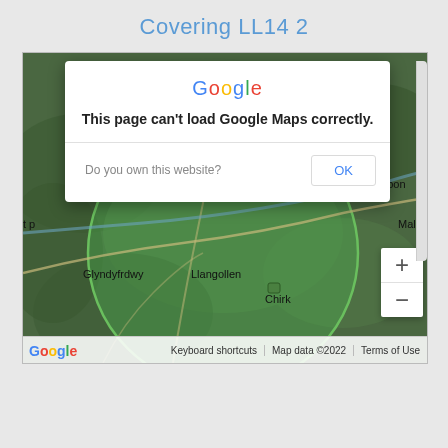Covering LL14 2
[Figure (screenshot): Google Maps screenshot showing an area covering postcode LL14 2, with a Google error dialog overlay saying 'This page can't load Google Maps correctly.' and a 'Do you own this website?' prompt with an OK button. The map shows a satellite/terrain view of the Llangollen, Ruabon, Chirk, and Glyndyfrdwy area in Wales with a green circle overlay. Map controls and Google logo are visible. Map data ©2022.]